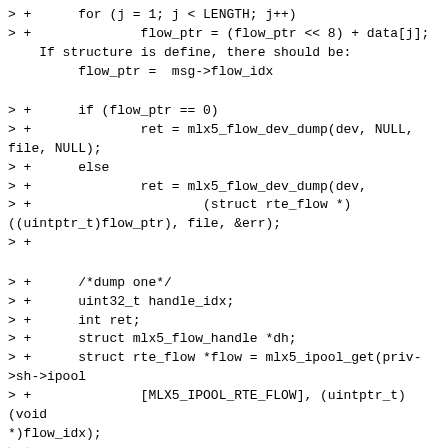> +      for (j = 1; j < LENGTH; j++)
> +              flow_ptr = (flow_ptr << 8) + data[j];
    If structure is define, there should be:
         flow_ptr =  msg->flow_idx
> +      if (flow_ptr == 0)
> +              ret = mlx5_flow_dev_dump(dev, NULL, file, NULL);
> +      else
> +              ret = mlx5_flow_dev_dump(dev,
> +                      (struct rte_flow *)
((uintptr_t)flow_ptr), file, &err);
> +
> +      /*dump one*/
> +      uint32_t handle_idx;
> +      int ret;
> +      struct mlx5_flow_handle *dh;
> +      struct rte_flow *flow = mlx5_ipool_get(priv->sh->ipool
> +              [MLX5_IPOOL_RTE_FLOW], (uintptr_t)(void *)flow_idx);
> +
Please, move variable declarations to the routine beginning, to others
With best regards, Slava
^ permalink raw reply   [flat|nested] 53+ messages in thread